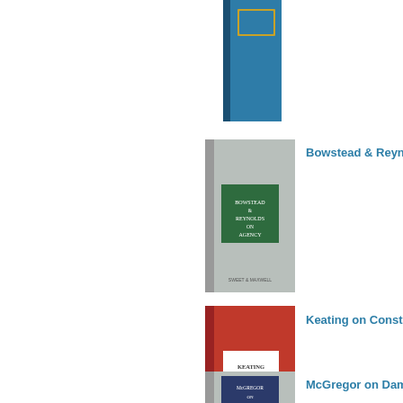[Figure (photo): Blue hardcover law book, partially visible at top of page, spine visible]
[Figure (photo): Gray hardcover law book - Bowstead & Reynolds on Agency, with green label on cover, Sweet & Maxwell publisher]
Bowstead & Reynolds
[Figure (photo): Red hardcover law book - Keating on Construction Contracts, white label on cover, Sweet & Maxwell publisher]
Keating on Construction Contracts
[Figure (photo): Gray hardcover law book - McGregor on Damages, partially visible at bottom of page]
McGregor on Damages